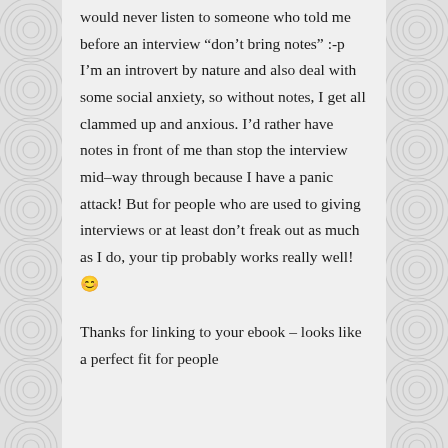would never listen to someone who told me before an interview “don’t bring notes” :-p I’m an introvert by nature and also deal with some social anxiety, so without notes, I get all clammed up and anxious. I’d rather have notes in front of me than stop the interview mid-way through because I have a panic attack! But for people who are used to giving interviews or at least don’t freak out as much as I do, your tip probably works really well! 🙂
Thanks for linking to your ebook – looks like a perfect fit for people